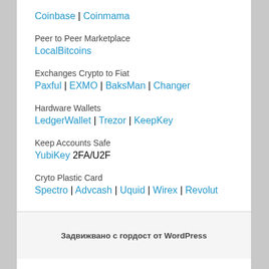Coinbase | Coinmama
Peer to Peer Marketplace
LocalBitcoins
Exchanges Crypto to Fiat
Paxful | EXMO | BaksMan | Changer
Hardware Wallets
LedgerWallet | Trezor | KeepKey
Keep Accounts Safe
YubiKey 2FA/U2F
Cryto Plastic Card
Spectro | Advcash | Uquid | Wirex | Revolut
Задвижвано с гордост от WordPress